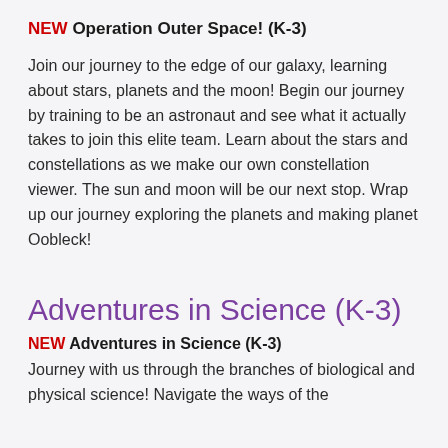NEW Operation Outer Space! (K-3)
Join our journey to the edge of our galaxy, learning about stars, planets and the moon! Begin our journey by training to be an astronaut and see what it actually takes to join this elite team. Learn about the stars and constellations as we make our own constellation viewer. The sun and moon will be our next stop. Wrap up our journey exploring the planets and making planet Oobleck!
Adventures in Science (K-3)
NEW Adventures in Science (K-3)
Journey with us through the branches of biological and physical science! Navigate the ways of the